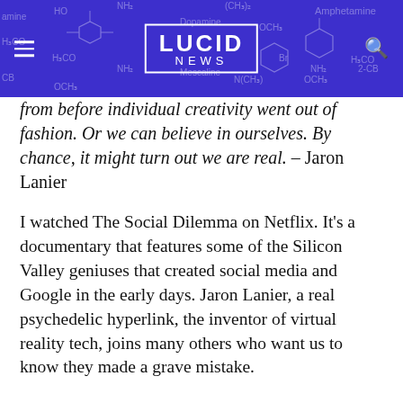LUCID NEWS
from before individual creativity went out of fashion. Or we can believe in ourselves. By chance, it might turn out we are real. – Jaron Lanier
I watched The Social Dilemma on Netflix. It's a documentary that features some of the Silicon Valley geniuses that created social media and Google in the early days. Jaron Lanier, a real psychedelic hyperlink, the inventor of virtual reality tech, joins many others who want us to know they made a grave mistake.